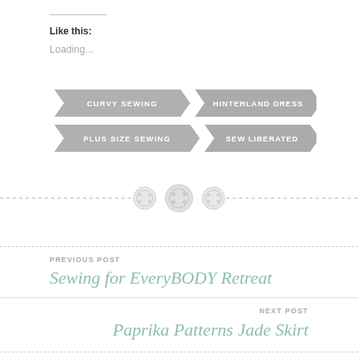Like this:
Loading...
[Figure (infographic): Four gray arrow-shaped tags: CURVY SEWING, HINTERLAND DRESS, PLUS SIZE SEWING, SEW LIBERATED]
[Figure (illustration): Decorative divider with three button icons on a dashed line]
PREVIOUS POST
Sewing for EveryBODY Retreat
NEXT POST
Paprika Patterns Jade Skirt